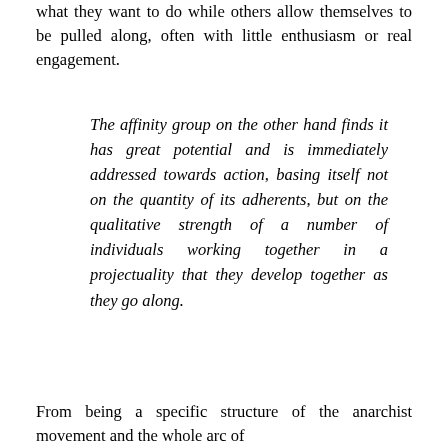what they want to do while others allow themselves to be pulled along, often with little enthusiasm or real engagement.
The affinity group on the other hand finds it has great potential and is immediately addressed towards action, basing itself not on the quantity of its adherents, but on the qualitative strength of a number of individuals working together in a projectuality that they develop together as they go along.
From being a specific structure of the anarchist movement and the whole arc of